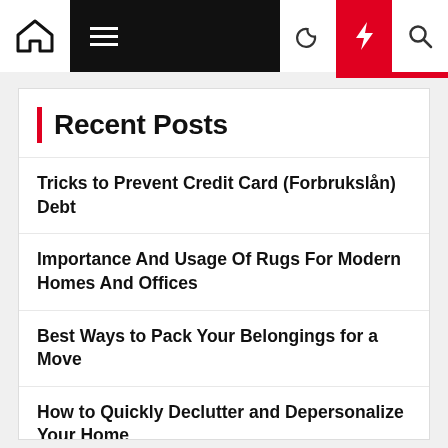Navigation bar with home icon, menu, dark mode, flash, and search icons
Recent Posts
Tricks to Prevent Credit Card (Forbrukslån) Debt
Importance And Usage Of Rugs For Modern Homes And Offices
Best Ways to Pack Your Belongings for a Move
How to Quickly Declutter and Depersonalize Your Home
Do Ice and Snow Damage the Roof?
Outsourced sales: trend, challenges, and opportunities